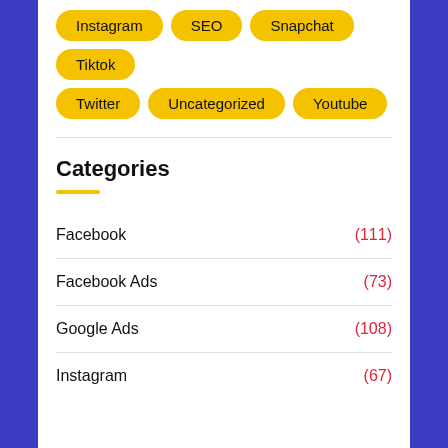Instagram
SEO
Snapchat
Tiktok
Twitter
Uncategorized
Youtube
Categories
Facebook (111)
Facebook Ads (73)
Google Ads (108)
Instagram (67)